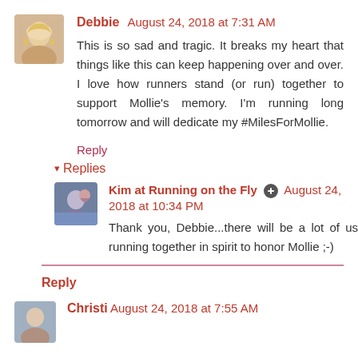[Figure (photo): Avatar photo of Debbie, a woman with blonde hair]
Debbie August 24, 2018 at 7:31 AM
This is so sad and tragic. It breaks my heart that things like this can keep happening over and over. I love how runners stand (or run) together to support Mollie's memory. I'm running long tomorrow and will dedicate my #MilesForMollie.
Reply
Replies
[Figure (photo): Avatar photo of Kim at Running on the Fly]
Kim at Running on the Fly  August 24, 2018 at 10:34 PM
Thank you, Debbie...there will be a lot of us running together in spirit to honor Mollie ;-)
Reply
[Figure (photo): Avatar photo of Christi (partially visible at bottom)]
Christi August 24, 2018 at 7:55 AM